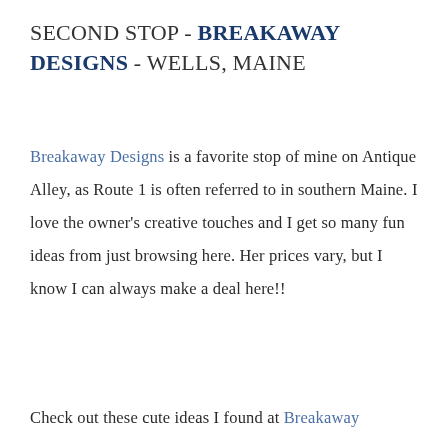SECOND STOP - BREAKAWAY DESIGNS - WELLS, MAINE
Breakaway Designs is a favorite stop of mine on Antique Alley, as Route 1 is often referred to in southern Maine. I love the owner's creative touches and I get so many fun ideas from just browsing here. Her prices vary, but I know I can always make a deal here!!
Check out these cute ideas I found at Breakaway